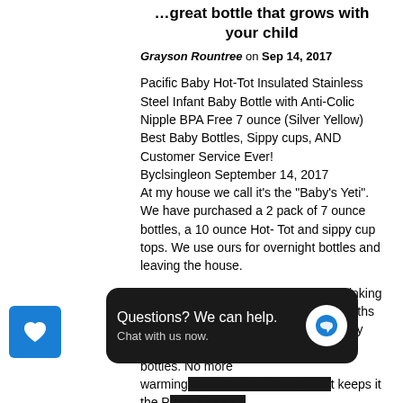…great bottle that grows with your child
Grayson Rountree on Sep 14, 2017
Pacific Baby Hot-Tot Insulated Stainless Steel Infant Baby Bottle with Anti-Colic Nipple BPA Free 7 ounce (Silver Yellow)
Best Baby Bottles, Sippy cups, AND Customer Service Ever!
Byclsingleon September 14, 2017
At my house we call it's the "Baby's Yeti". We have purchased a 2 pack of 7 ounce bottles, a 10 ounce Hot- Tot and sippy cup tops. We use ours for overnight bottles and leaving the house.
I initially saved this to the Wish List thinking it quite pricey but one day about 2 months into sleep deprivation after stumping my toe I broke down and purchased the bottles. No more warming… keeps it the PE…
It's also survived falling off the roof of my
[Figure (screenshot): Chat overlay popup: 'Questions? We can help. Chat with us now.' with blue chat bubble icon on dark background]